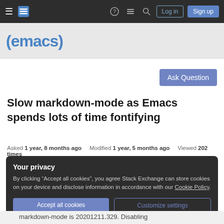Emacs Stack Exchange navigation bar with Log in and Sign up buttons
[Figure (logo): (emacs) site logo in blue on grey background]
Ask Question
Slow markdown-mode as Emacs spends lots of time fontifying
Asked 1 year, 8 months ago   Modified 1 year, 5 months ago   Viewed 202 times
Your privacy
By clicking “Accept all cookies”, you agree Stack Exchange can store cookies on your device and disclose information in accordance with our Cookie Policy.
Accept all cookies   Customize settings
markdown-mode is 20201211.329. Disabling